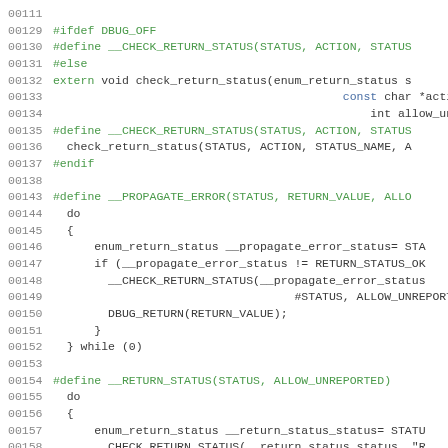[Figure (screenshot): Source code listing showing C preprocessor macros and function declarations with line numbers 00111-00161. Code includes #ifdef DBUG_OFF, #define __CHECK_RETURN_STATUS, extern void check_return_status, #define __PROPAGATE_ERROR, and #define __RETURN_STATUS macros.]